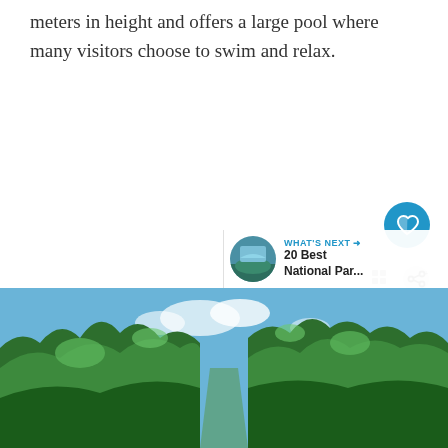meters in height and offers a large pool where many visitors choose to swim and relax.
[Figure (photo): Panoramic photo of a lush tropical forest with tall green trees against a blue sky with some clouds, viewed from below looking upward]